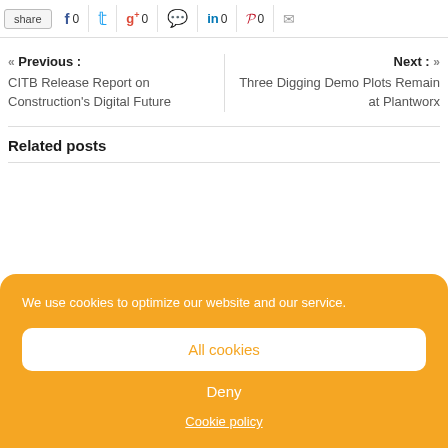share | f 0 | (twitter) | g+ 0 | (whatsapp) | in 0 | p 0 | (mail)
« Previous : CITB Release Report on Construction's Digital Future
Next : » Three Digging Demo Plots Remain at Plantworx
Related posts
We use cookies to optimize our website and our service.
All cookies
Deny
Cookie policy